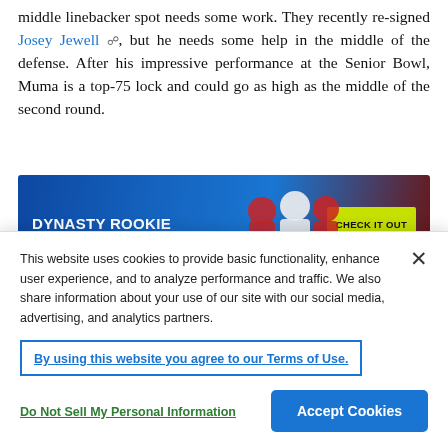middle linebacker spot needs some work. They recently re-signed Josey Jewell, but he needs some help in the middle of the defense. After his impressive performance at the Senior Bowl, Muma is a top-75 lock and could go as high as the middle of the second round.
[Figure (infographic): Dynasty Rookie Draft Kit banner advertisement with football players and 'Check It Out' button]
[Figure (infographic): Podcast banner with dark navy background, Spotify icon, and stylized letter F logo with red lines]
This website uses cookies to provide basic functionality, enhance user experience, and to analyze performance and traffic. We also share information about your use of our site with our social media, advertising, and analytics partners.
By using this website you agree to our Terms of Use.
Do Not Sell My Personal Information
Accept Cookies